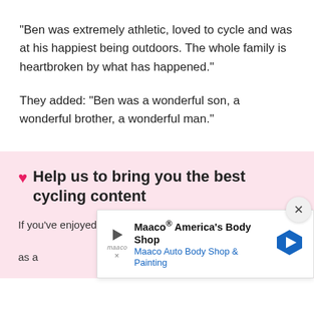“Ben was extremely athletic, loved to cycle and was at his happiest being outdoors. The whole family is heartbroken by what has happened.”
They added: “Ben was a wonderful son, a wonderful brother, a wonderful man.”
♥ Help us to bring you the best cycling content
If you’ve enjoyed this article, then please consider subscribing... [ad overlay obscures text] ...you as a
[Figure (screenshot): Advertisement overlay: Maaco® America's Body Shop / Maaco Auto Body Shop & Painting, with play icon, logo, blue subtitle, and blue diamond arrow icon. Close button (X) in top right corner.]